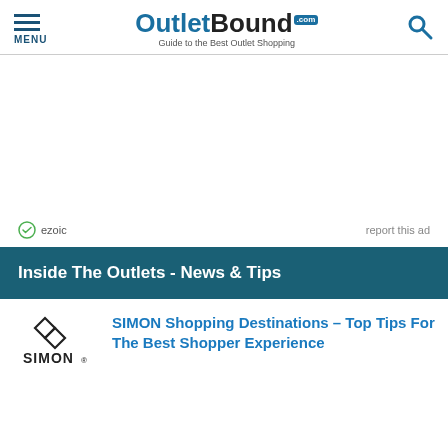OutletBound.com — Guide to the Best Outlet Shopping
[Figure (other): Advertisement area (blank ad space)]
ezoic   report this ad
Inside The Outlets - News & Tips
[Figure (logo): SIMON logo]
SIMON Shopping Destinations – Top Tips For The Best Shopper Experience